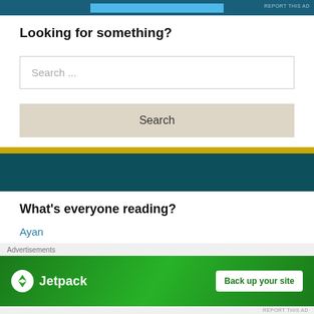REPORT THIS AD
Looking for something?
Search ...
Search
What's everyone reading?
Ayan
Seeta aur Geeta
Jalsa
Ajooba (1991)
[Figure (other): Jetpack advertisement banner with logo and 'Back up your site' button on green background]
Advertisements
REPORT THIS AD